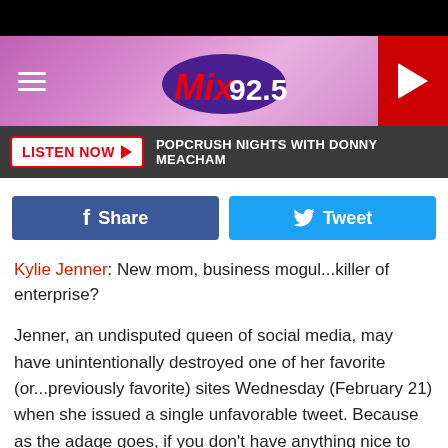[Figure (screenshot): Mix 92.5 radio station website header with pink/purple background, hamburger menu icon on left, Mix 92.5 logo in center, red play button on right]
[Figure (screenshot): Dark toolbar with white LISTEN NOW button with red text and arrow, followed by white text reading POPCRUSH NIGHTS WITH DONNY MEACHAM]
[Figure (screenshot): Social sharing buttons: blue Facebook Share button and light blue Twitter Tweet button]
Kylie Jenner: New mom, business mogul...killer of enterprise?
Jenner, an undisputed queen of social media, may have unintentionally destroyed one of her favorite (or...previously favorite) sites Wednesday (February 21) when she issued a single unfavorable tweet. Because as the adage goes, if you don't have anything nice to say, you may as well tank a media magnate.